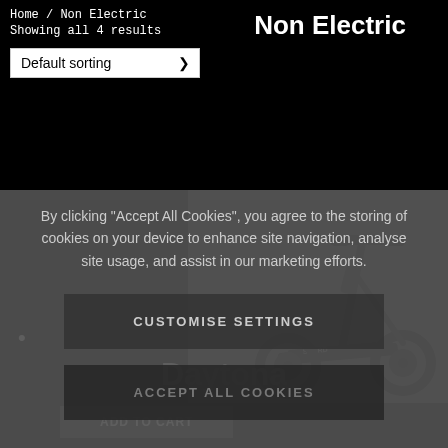Home / Non Electric
Non Electric
Showing all 4 results
Default sorting
By clicking “Accept All Cookies”, you agree to the storing of cookies on your device to enhance site navigation, analyse site usage, and assist in our marketing efforts.
CUSTOMISE SETTINGS
ACCEPT ALL COOKIES
[Figure (photo): A dark-colored stunt scooter on a grey background]
•
Daytona